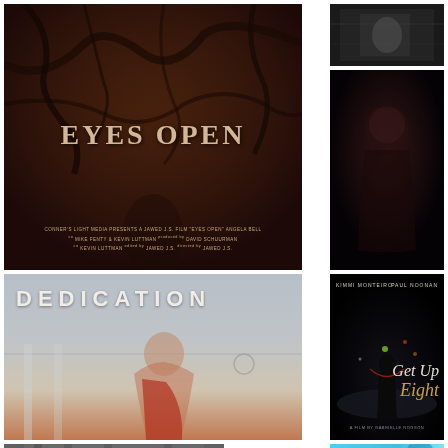[Figure (photo): Movie poster for 'Eyes Open' - dark reddish-brown background with bare tree branches silhouette, bold serif title text 'EYES OPEN', production credits below in small caps]
[Figure (photo): Dark monochrome film still showing a scene, black and white tones]
[Figure (photo): Dark film still showing a woman laughing or screaming with hands raised, low-key lighting]
[Figure (photo): Movie poster for 'Dedication' - shows a young woman in a red velvet dance top with black trim, hair in a bun, in a dance studio. Title 'DEDICATION' in large white letters at top]
[Figure (photo): Movie poster for 'Get Up Eight' starring Kimmi Monteiro and Paul Noonan. Dark nighttime setting with a figure silhouetted against city lights. Script title 'Get Up Eight' in white and gold cursive. 'A Film by Gabrielle Rogson' at bottom]
[Figure (photo): Film still showing exterior of a building, muted grey tones]
[Figure (photo): Film still or promotional image with bright cyan/turquoise background, text 'Sonny' visible in stylized lettering with a person partially visible]